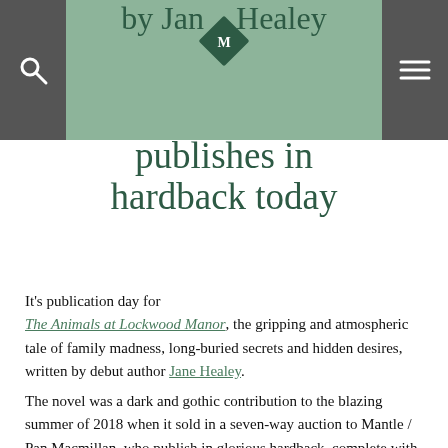by Jane Healey publishes in hardback today
publishes in hardback today
It's publication day for The Animals at Lockwood Manor, the gripping and atmospheric tale of family madness, long-buried secrets and hidden desires, written by debut author Jane Healey.
The novel was a dark and gothic contribution to the blazing summer of 2018 when it sold in a seven-way auction to Mantle / Pan Macmillan, who publish in glorious hardback, complete with a Waterstones special edition, signed with two gilted